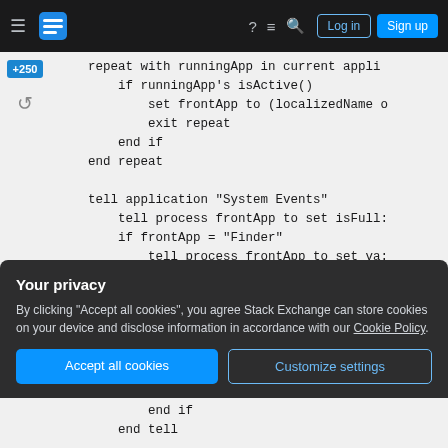Stack Exchange navigation bar with Log in and Sign up buttons
[Figure (screenshot): Code editor showing AppleScript code snippet with repeat loop and tell application System Events block]
Your privacy
By clicking "Accept all cookies", you agree Stack Exchange can store cookies on your device and disclose information in accordance with our Cookie Policy.
Accept all cookies
Customize settings